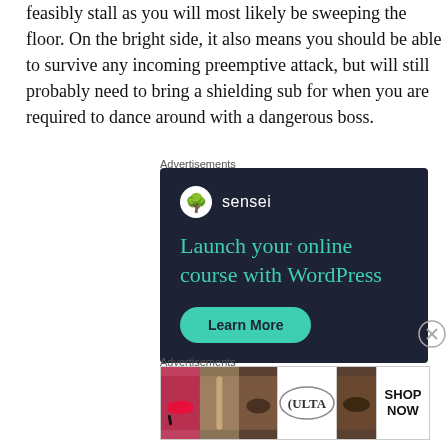feasibly stall as you will most likely be sweeping the floor. On the bright side, it also means you should be able to survive any incoming preemptive attack, but will still probably need to bring a shielding sub for when you are required to dance around with a dangerous boss.
Advertisements
[Figure (screenshot): Sensei advertisement banner with dark navy background showing sensei logo, headline 'Launch your online course with WordPress', and a teal 'Learn More' button]
Advertisements
[Figure (screenshot): Ulta Beauty advertisement banner showing cosmetics imagery with red lips, makeup brush, eye makeup, Ulta logo, more eye makeup, and a 'SHOP NOW' call to action]